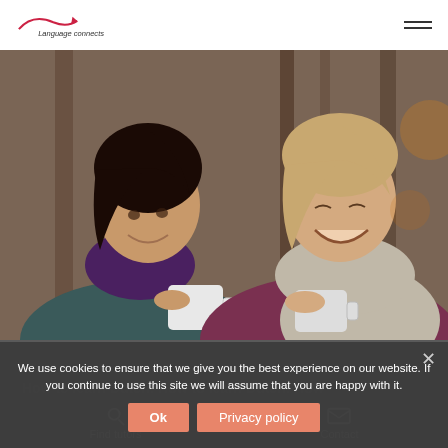[Figure (logo): Language connects logo with swoosh arrow and tagline 'Language connects']
[Figure (photo): Two women laughing and holding coffee mugs outdoors, one with dark hair and purple scarf, one with light hair and grey scarf/maroon sweater]
How to learn Dutch: How to learn Dutch: How
We use cookies to ensure that we give you the best experience on our website. If you continue to use this site we will assume that you are happy with it.
Ok
Privacy policy
Find tutors
Contact